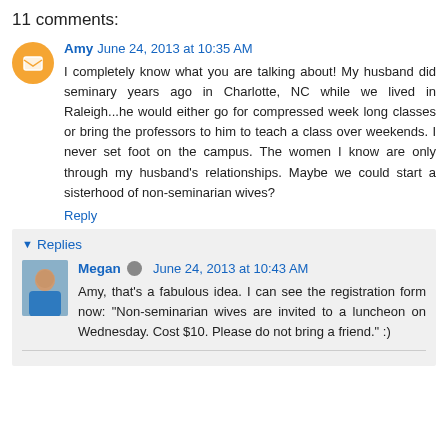11 comments:
Amy June 24, 2013 at 10:35 AM
I completely know what you are talking about! My husband did seminary years ago in Charlotte, NC while we lived in Raleigh...he would either go for compressed week long classes or bring the professors to him to teach a class over weekends. I never set foot on the campus. The women I know are only through my husband's relationships. Maybe we could start a sisterhood of non-seminarian wives?
Reply
Replies
Megan June 24, 2013 at 10:43 AM
Amy, that's a fabulous idea. I can see the registration form now: "Non-seminarian wives are invited to a luncheon on Wednesday. Cost $10. Please do not bring a friend." :)